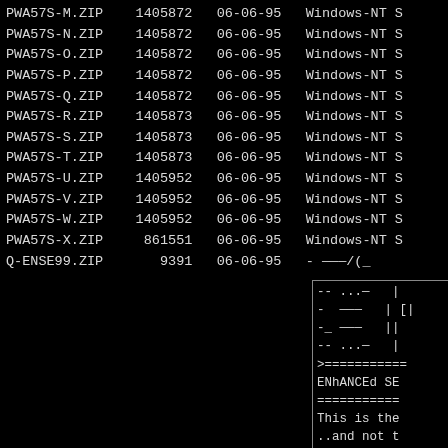| Filename | Size | Date | Description |
| --- | --- | --- | --- |
| PWA57S-M.ZIP | 1405872 | 06-06-95 | Windows-NT S |
| PWA57S-N.ZIP | 1405872 | 06-06-95 | Windows-NT S |
| PWA57S-O.ZIP | 1405872 | 06-06-95 | Windows-NT S |
| PWA57S-P.ZIP | 1405872 | 06-06-95 | Windows-NT S |
| PWA57S-Q.ZIP | 1405872 | 06-06-95 | Windows-NT S |
| PWA57S-R.ZIP | 1405873 | 06-06-95 | Windows-NT S |
| PWA57S-S.ZIP | 1405873 | 06-06-95 | Windows-NT S |
| PWA57S-T.ZIP | 1405873 | 06-06-95 | Windows-NT S |
| PWA57S-U.ZIP | 1405952 | 06-06-95 | Windows-NT S |
| PWA57S-V.ZIP | 1405952 | 06-06-95 | Windows-NT S |
| PWA57S-W.ZIP | 1405952 | 06-06-95 | Windows-NT S |
| PWA57S-X.ZIP | 861551 | 06-06-95 | Windows-NT S |
| Q-ENSE99.ZIP | 9391 | 06-06-95 | - -———/( |
-- ...—
-  ———
-_ ———
-- ...—
>==========
ENhANCEd SE
==========
This is the
..and not t
.......Mast
==========
Includes